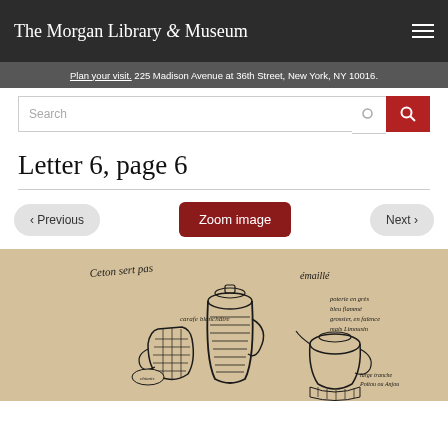The Morgan Library & Museum
Plan your visit. 225 Madison Avenue at 36th Street, New York, NY 10016.
Letter 6, page 6
‹ Previous   Zoom image   Next ›
[Figure (illustration): Sketch/drawing of pottery/jugs with handwritten annotations in French]